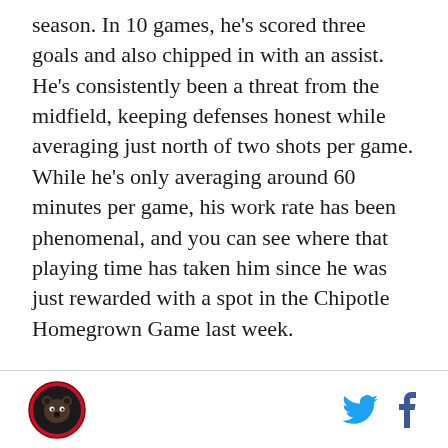season. In 10 games, he's scored three goals and also chipped in with an assist. He's consistently been a threat from the midfield, keeping defenses honest while averaging just north of two shots per game. While he's only averaging around 60 minutes per game, his work rate has been phenomenal, and you can see where that playing time has taken him since he was just rewarded with a spot in the Chipotle Homegrown Game last week.
[logo] [twitter icon] [facebook icon]